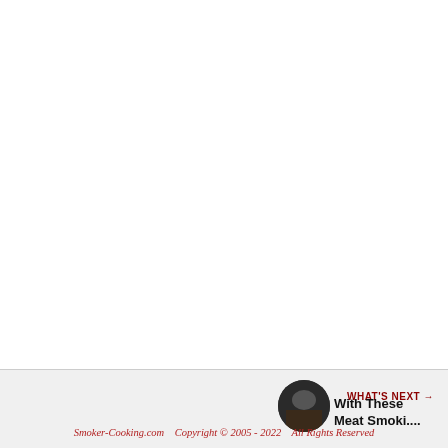[Figure (other): Subscribe to The BlueSmoke Gazette newsletter banner with border, containing three lines of styled text]
[Figure (other): Heart/like button (dark red circle with heart icon), count of 27, and share button]
[Figure (other): What's Next thumbnail showing a meat smoking image]
WHAT'S NEXT → With These Meat Smoki....
Smoker-Cooking.com    Copyright © 2005 - 2022    All Rights Reserved